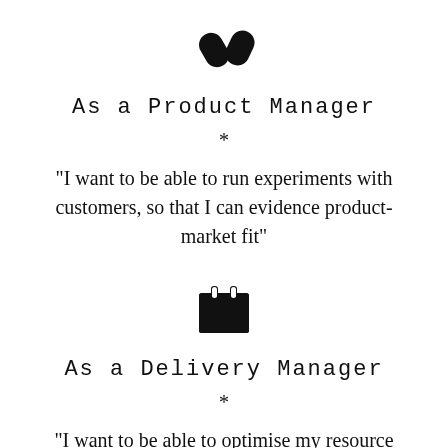[Figure (illustration): Two pill/capsule icons side by side, rendered in black]
As a Product Manager
*
“I want to be able to run experiments with customers, so that I can evidence product-market fit”
[Figure (illustration): Calendar icon rendered in black]
As a Delivery Manager
*
“I want to be able to optimise my resource usage